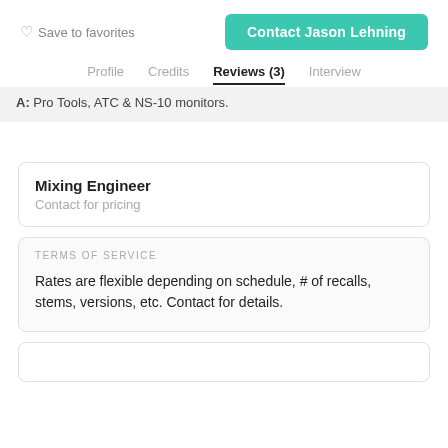Save to favorites
Contact Jason Lehning
Profile   Credits   Reviews (3)   Interview
A: Pro Tools, ATC & NS-10 monitors.
Mixing Engineer
Contact for pricing
TERMS OF SERVICE
Rates are flexible depending on schedule, # of recalls, stems, versions, etc. Contact for details.